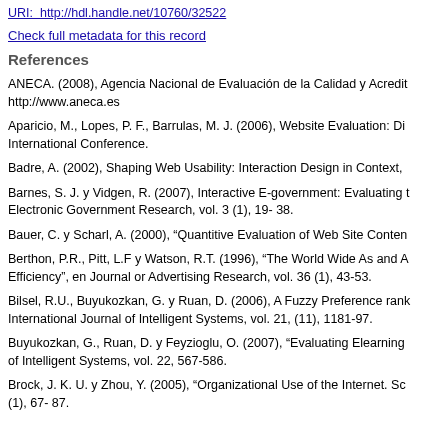URI: http://hdl.handle.net/10760/32522
Check full metadata for this record
References
ANECA. (2008), Agencia Nacional de Evaluación de la Calidad y Acredit... http://www.aneca.es
Aparicio, M., Lopes, P. F., Barrulas, M. J. (2006), Website Evaluation: Dis... International Conference.
Badre, A. (2002), Shaping Web Usability: Interaction Design in Context, ...
Barnes, S. J. y Vidgen, R. (2007), Interactive E-government: Evaluating t... Electronic Government Research, vol. 3 (1), 19- 38.
Bauer, C. y Scharl, A. (2000), "Quantitive Evaluation of Web Site Conten...
Berthon, P.R., Pitt, L.F y Watson, R.T. (1996), "The World Wide As and A... Efficiency", en Journal or Advertising Research, vol. 36 (1), 43-53.
Bilsel, R.U., Buyukozkan, G. y Ruan, D. (2006), A Fuzzy Preference rank... International Journal of Intelligent Systems, vol. 21, (11), 1181-97.
Buyukozkan, G., Ruan, D. y Feyzioglu, O. (2007), "Evaluating Elearning... of Intelligent Systems, vol. 22, 567-586.
Brock, J. K. U. y Zhou, Y. (2005), "Organizational Use of the Internet. Sca... (1), 67- 87.